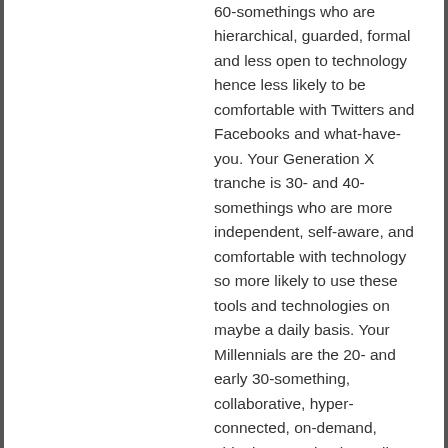60-somethings who are hierarchical, guarded, formal and less open to technology hence less likely to be comfortable with Twitters and Facebooks and what-have-you. Your Generation X tranche is 30- and 40-somethings who are more independent, self-aware, and comfortable with technology so more likely to use these tools and technologies on maybe a daily basis. Your Millennials are the 20- and early 30-something, collaborative, hyper-connected, on-demand, ubiquitous, technology-all-embracing users.
In short, to make a success of any Twitter, Facebook or Internet presences, breweries (large or micro) should be handing the conch over to its younger intake. They must stay aware, however, of how to manage that mouthpiece at all times!
Reply
Richard Burhouse
September 29, 2010 at 19:46
Good post. I think breweries and pubs need to realise more the value a good internet profile can add to their businesses. The Grove in Huddersfield regularly updates it's beers online and I often base visits around what is on